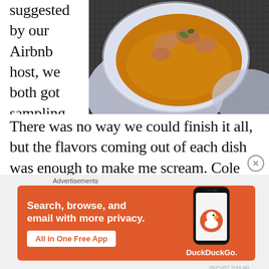suggested by our Airbnb host, we both got sampling platters.
[Figure (photo): Overhead view of a white bowl containing Thai curry with chicken and garnish, on a dark woven placemat with another plate partially visible]
There was no way we could finish it all, but the flavors coming out of each dish was enough to make me scream. Cole couldn’t look at me and say, “I’ll have what she’s having,” because he already was. Of
Advertisements
[Figure (other): DuckDuckGo advertisement banner with orange background. Text reads: Search, browse, and email with more privacy. All in One Free App. Shows a phone with DuckDuckGo logo.]